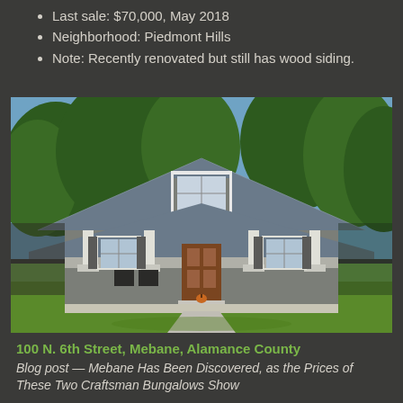Last sale: $70,000, May 2018
Neighborhood: Piedmont Hills
Note: Recently renovated but still has wood siding.
[Figure (photo): Exterior photo of a craftsman bungalow-style house with gray siding, white trim, wrap-around porch with white columns, blue metal roof with dormer window, and green lawn in foreground. Located at 100 N. 6th Street, Mebane, Alamance County.]
100 N. 6th Street, Mebane, Alamance County
Blog post — Mebane Has Been Discovered, as the Prices of These Two Craftsman Bungalows Show